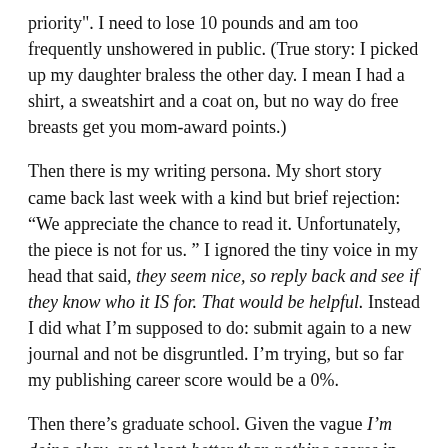priority".  I need to lose 10 pounds and am too frequently unshowered in public.  (True story:  I picked up my daughter braless the other day.  I mean I had a shirt, a sweatshirt and a coat on, but no way do free breasts get you mom-award points.)
Then there is my writing persona.  My short story came back last week with a kind but brief rejection: “We appreciate the chance to read it. Unfortunately, the piece is not for us. ”  I ignored the tiny voice in my head that said, they seem nice, so reply back and see if they know who it IS for.  That would be helpful.  Instead I did what I’m supposed to do:  submit again to a new journal and not be disgruntled.  I’m trying, but so far my publishing career score would be a 0%.
Then there’s graduate school.  Given the vague I’m doing okay, or at least better than nothing scores in the rest of my life, I probably shouldn’t have been surprised when my first